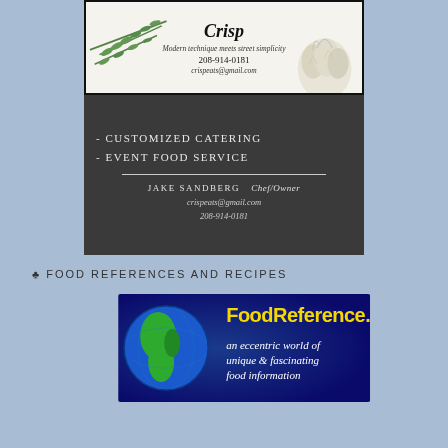[Figure (photo): Business card for 'Crisp' catering. Top half: white background with herb/garlic decoration, italic title 'Crisp', tagline 'Modern technique meets street simplicity', phone 208-914-0181, email crispeats@gmail.com. Bottom half: dark charcoal background listing services '- Customized Catering', '- Event Food Service', divider line, name 'Jake Sandberg Chef/Owner', email crispeats@gmail.com, phone 208-914-0181.]
♣ FOOD REFERENCES AND RECIPES
[Figure (photo): FoodReference.com banner advertisement. Dark blue/gradient background with globe showing Americas in green. Yellow bubble text 'FoodReference.com' at top. White italic text 'an eccentric world of unique & fascinating food information'.]